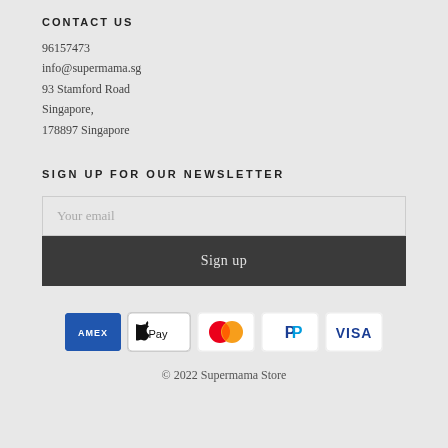CONTACT US
96157473
info@supermama.sg
93 Stamford Road
Singapore,
178897 Singapore
SIGN UP FOR OUR NEWSLETTER
Your email
Sign up
[Figure (other): Payment method icons: American Express, Apple Pay, Mastercard, PayPal, Visa]
© 2022 Supermama Store